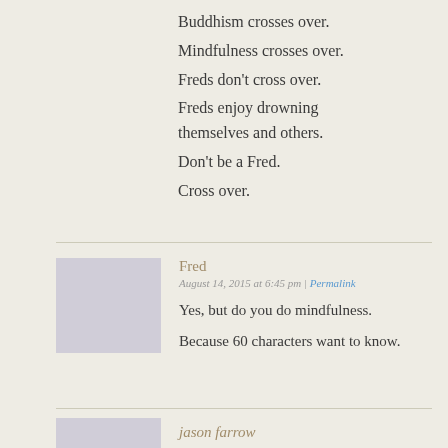Buddhism crosses over.
Mindfulness crosses over.
Freds don’t cross over.
Freds enjoy drowning themselves and others.
Don’t be a Fred.
Cross over.
Fred
August 14, 2015 at 6:45 pm | Permalink
Yes, but do you do mindfulness.
Because 60 characters want to know.
jason farrow